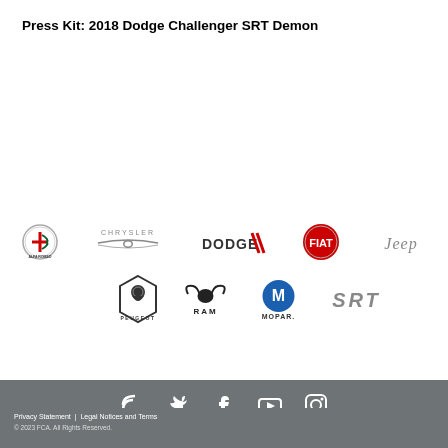Press Kit: 2018 Dodge Challenger SRT Demon
[Figure (logo): FCA brand logos: Alfa Romeo, Chrysler, Dodge, Fiat, Jeep, Peugeot, RAM, Mopar, SRT]
[Figure (infographic): Social media icons: RSS, Twitter, Facebook, YouTube, Instagram]
Privacy Statement  |  Legal Notices and Terms
© 2023 FCA. All Rights Reserved.